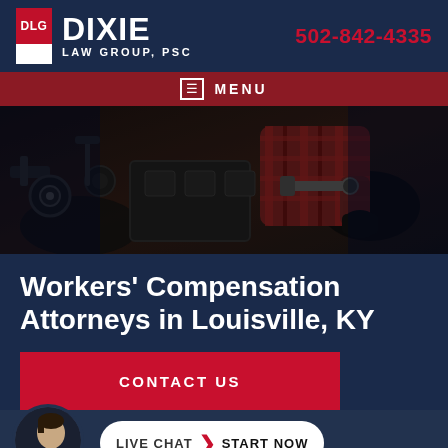DLG Dixie Law Group, PSC | 502-842-4335
MENU
[Figure (photo): Worker in plaid shirt and black gloves working on machinery/engine parts in an industrial setting]
Workers' Compensation Attorneys in Louisville, KY
CONTACT US
LIVE CHAT START NOW